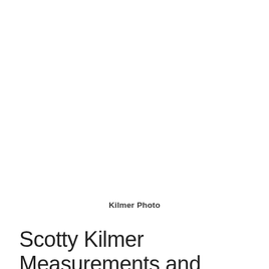Kilmer Photo
Scotty Kilmer Measurements and Features